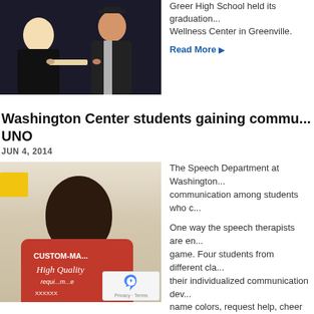[Figure (photo): Graduation ceremony photo showing a graduate in cap and gown receiving diploma]
Greer High School held its graduation... Wellness Center in Greenville.
Read More ▶
Washington Center students gaining commu... UNO
JUN 4, 2014
[Figure (photo): Young man in red custom-made high quality t-shirt seated in classroom]
The Speech Department at Washington... communication among students who c...
One way the speech therapists are en... game. Four students from different cla... their individualized communication dev... name colors, request help, cheer each... the game.
Read More ▶